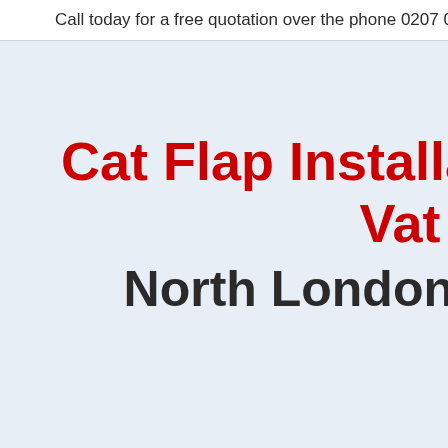Call today for a free quotation over the phone 0207 096 374
Cat Flap Installation Costs Vat
North London 0207 090
CATFLAPS FITTED INTO